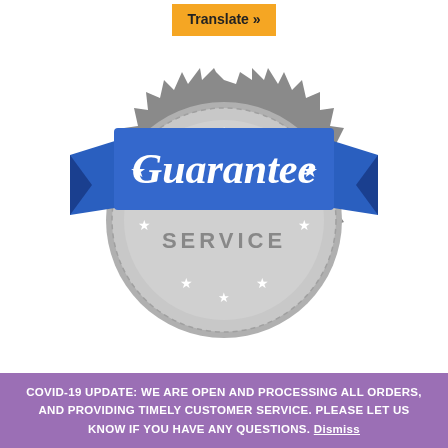[Figure (illustration): A guarantee badge/seal graphic. A large circular grey gear/cog seal with white stars. A blue ribbon banner across the middle reads 'Guarantee' in white cursive script, with white stars on the left and right ends. Below the ribbon within the circle is a lighter grey arc reading 'SERVICE' in bold uppercase grey letters. A small orange rectangle at the top center reads 'Translate »' in bold dark text.]
EASY SETUP CAMPAIGNS
Real Visitors
To date, we have provided high quality targeted traffic for over 70,000 online stores,
COVID-19 UPDATE: WE ARE OPEN AND PROCESSING ALL ORDERS, AND PROVIDING TIMELY CUSTOMER SERVICE. PLEASE LET US KNOW IF YOU HAVE ANY QUESTIONS. Dismiss